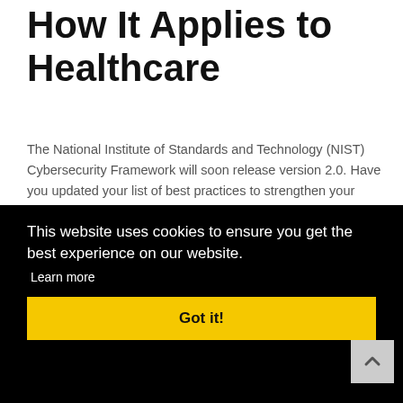How It Applies to Healthcare
The National Institute of Standards and Technology (NIST) Cybersecurity Framework will soon release version 2.0. Have you updated your list of best practices to strengthen your overall security posture? The NIST is about to update theirs.
While adopting the NIST Cybersecurity Framework is
[partially visible behind cookie banner] ...nding ...rity ...arn
[partially visible behind cookie banner] their
This website uses cookies to ensure you get the best experience on our website. Learn more Got it!